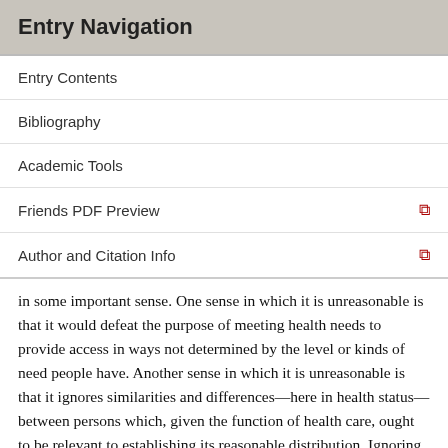Entry Navigation
Entry Contents
Bibliography
Academic Tools
Friends PDF Preview
Author and Citation Info
in some important sense. One sense in which it is unreasonable is that it would defeat the purpose of meeting health needs to provide access in ways not determined by the level or kinds of need people have. Another sense in which it is unreasonable is that it ignores similarities and differences—here in health status—between persons which, given the function of health care, ought to be relevant to establishing its reasonable distribution. Ignoring such relevant similarities and differences is what it means for a distribution to be inequitable." A version of this argument is clearly